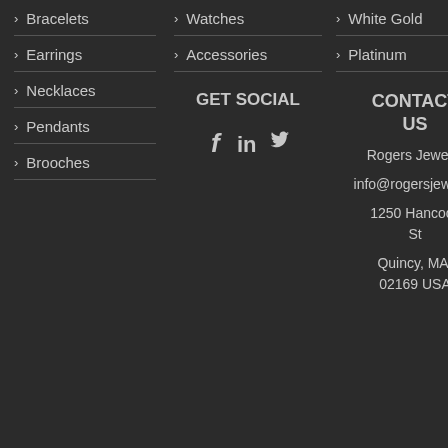> Bracelets
> Earrings
> Necklaces
> Pendants
> Brooches
> Watches
> Accessories
GET SOCIAL
[Figure (infographic): Social media icons: Facebook, LinkedIn, Twitter]
> White Gold
> Platinum
CONTACT US
Rogers Jewelry
info@rogersjewelry.
1250 Hancock St
Quincy, MA, 02169 USA